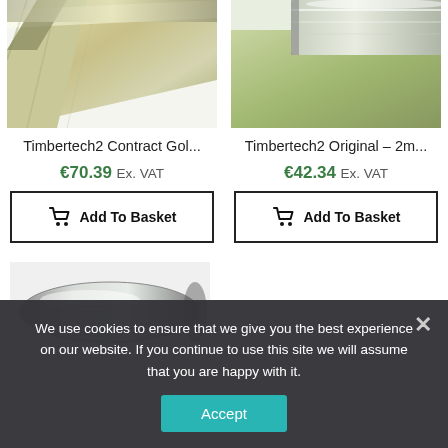[Figure (photo): Product photo of Timbertech2 Contract Gol... – insulation material roll with metallic surface, cropped from top]
Timbertech2 Contract Gol...
€70.39 Ex. VAT
Add To Basket
[Figure (photo): Product photo of Timbertech2 Original – 2m... – insulation material roll with metallic and green surface, cropped from top]
Timbertech2 Original – 2m...
€42.34 Ex. VAT
Add To Basket
[Figure (photo): Product photo of a third Timbertech product – silver metallic roll, partially visible at bottom]
We use cookies to ensure that we give you the best experience on our website. If you continue to use this site we will assume that you are happy with it.
Accept